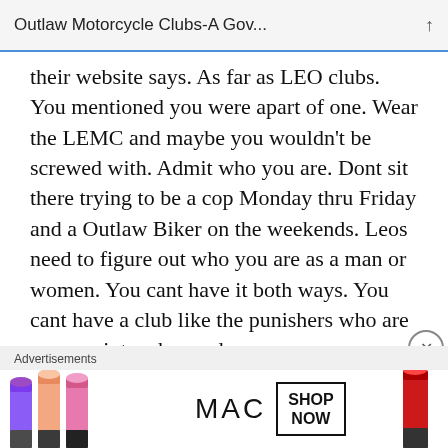Outlaw Motorcycle Clubs-A Gov...
their website says. As far as LEO clubs. You mentioned you were apart of one. Wear the LEMC and maybe you wouldn’t be screwed with. Admit who you are. Dont sit there trying to be a cop Monday thru Friday and a Outlaw Biker on the weekends. Leos need to figure out who you are as a man or women. You cant have it both ways. You cant have a club like the punishers who are cops go into a bar and cause
[Figure (screenshot): MAC cosmetics advertisement banner showing lipsticks in purple, peach, and pink colors on the left, MAC logo text in the center, a SHOP NOW box, and a red lipstick on the right]